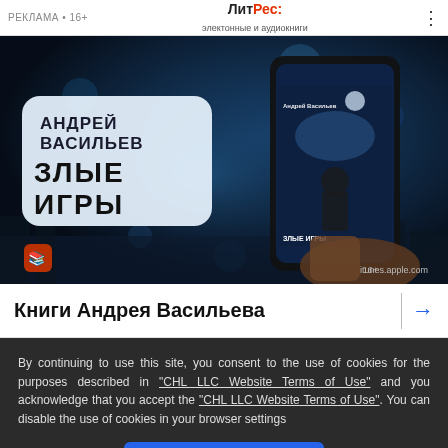РЕКЛАМА • 16+ | ЛитРес: электонные и аудиокниги
[Figure (photo): Advertisement image for audiobook 'Злые Игры' by Андрей Васильев on LitRes, showing a hand holding a phone with the book cover, dark blue cityscape background. Text: АНДРЕЙ ВАСИЛЬЕВ ЗЛЫЕ ИГРЫ. Logo and itunes.apple.com watermark visible.]
Книги Андрея Васильева →
By continuing to use this site, you consent to the use of cookies for the purposes described in "CHL LLC Website Terms of Use" and you acknowledge that you accept the "CHL LLC Website Terms of Use". You can disable the use of cookies in your browser settings
OK